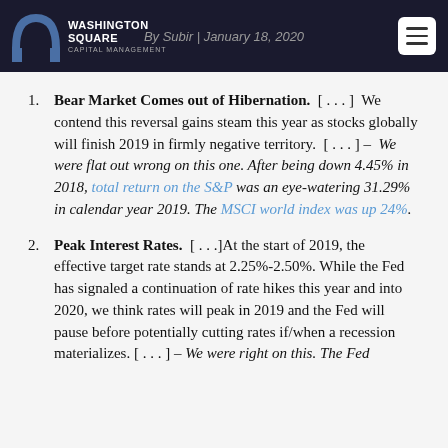Washington Square Capital Management | By Subir | January 18, 2020
Bear Market Comes out of Hibernation. [...] We contend this reversal gains steam this year as stocks globally will finish 2019 in firmly negative territory. [...] – We were flat out wrong on this one. After being down 4.45% in 2018, total return on the S&P was an eye-watering 31.29% in calendar year 2019. The MSCI world index was up 24%.
Peak Interest Rates. [...]At the start of 2019, the effective target rate stands at 2.25%-2.50%. While the Fed has signaled a continuation of rate hikes this year and into 2020, we think rates will peak in 2019 and the Fed will pause before potentially cutting rates if/when a recession materializes. [...] – We were right on this. The Fed